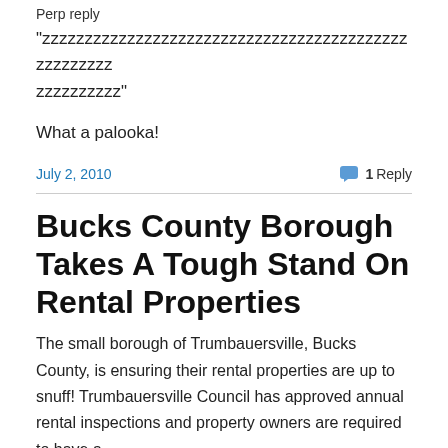Perp reply
“zzzzzzzzzzzzzzzzzzzzzzzzzzzzzzzzzzzzzzzzzzzzzzzzzzzzzzzzzzzzzzzzzzzzzzzzzz”
What a palooka!
July 2, 2010
1 Reply
Bucks County Borough Takes A Tough Stand On Rental Properties
The small borough of Trumbauersville, Bucks County, is ensuring their rental properties are up to snuff! Trumbauersville Council has approved annual rental inspections and property owners are required to have a